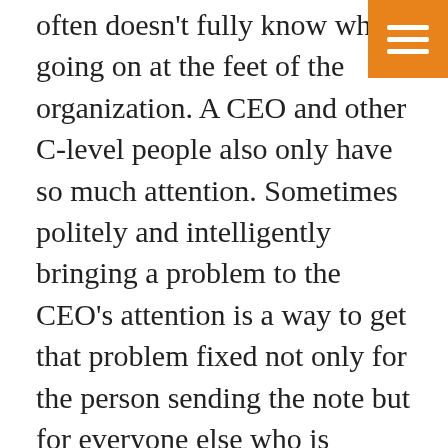often doesn't fully know what's going on at the feet of the organization. A CEO and other C-level people also only have so much attention. Sometimes politely and intelligently bringing a problem to the CEO's attention is a way to get that problem fixed not only for the person sending the note but for everyone else who is having the problem.)
We know that Ooma is aware of the phone problem: conventional analog phones are stuck in the 1990s, when real companies and